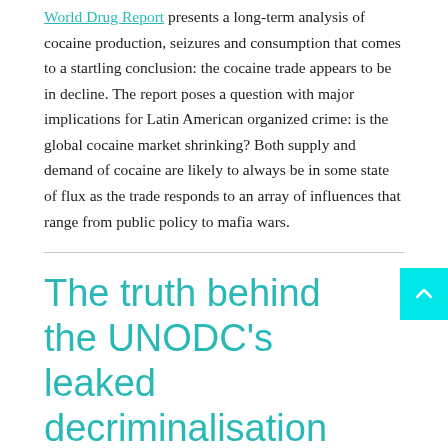World Drug Report presents a long-term analysis of cocaine production, seizures and consumption that comes to a startling conclusion: the cocaine trade appears to be in decline. The report poses a question with major implications for Latin American organized crime: is the global cocaine market shrinking? Both supply and demand of cocaine are likely to always be in some state of flux as the trade responds to an array of influences that range from public policy to mafia wars.
The truth behind the UNODC's leaked decriminalisation paper
The UNODC claims that the briefing is not a final or formal document, and does not amount to a